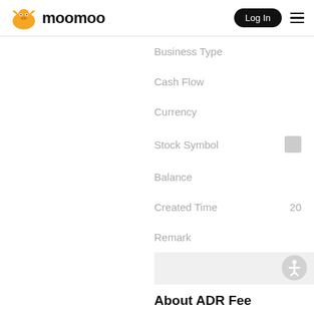moomoo — Log In
Business Type
Cash Flow
Currency
Stock Symbol
Balance
Created Time  20
Remark
About ADR Fee